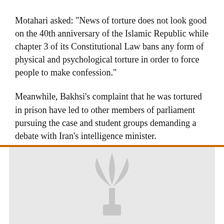Motahari asked: "News of torture does not look good on the 40th anniversary of the Islamic Republic while chapter 3 of its Constitutional Law bans any form of physical and psychological torture in order to force people to make confession."
Meanwhile, Bakhsi's complaint that he was tortured in prison have led to other members of parliament pursuing the case and student groups demanding a debate with Iran's intelligence minister.
[Figure (logo): A light grey logo/watermark of a stylized torch or flame with a leaf, centered in a grey rectangle below an orange divider line.]